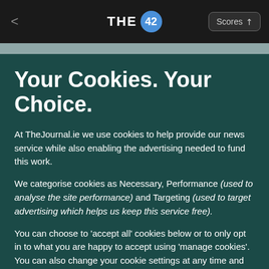THE 42 | Scores
Your Cookies. Your Choice.
At TheJournal.ie we use cookies to help provide our news service while also enabling the advertising needed to fund this work.
We categorise cookies as Necessary, Performance (used to analyse the site performance) and Targeting (used to target advertising which helps us keep this service free).
You can choose to 'accept all' cookies below or to only opt in to what you are happy to accept using 'manage cookies'. You can also change your cookie settings at any time and learn more about how we use cookies in our Privacy Policy